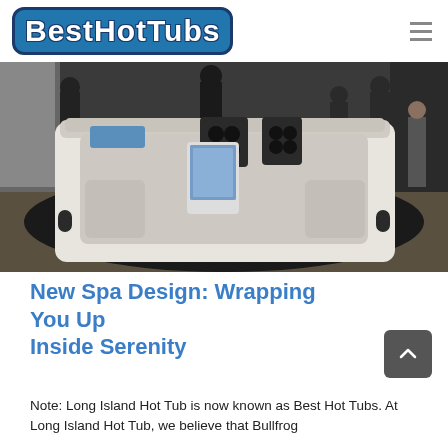Best Hot Tubs
[Figure (photo): A large white rectangular hot tub/spa on display at an indoor trade show or showroom, with people standing around it. The tub features built-in speakers, controls, and a tablet holder.]
New Spa Design: Wrapping You Up Inside Serenity
Note: Long Island Hot Tub is now known as Best Hot Tubs. At Long Island Hot Tub, we believe that Bullfrog